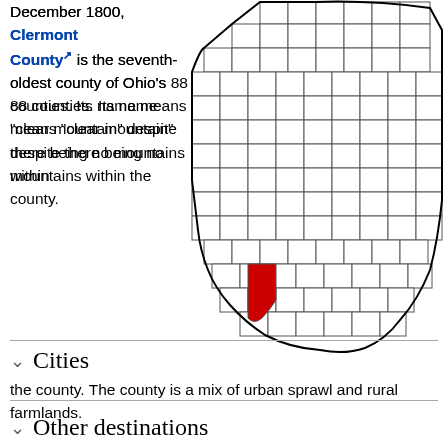December 1800, Clermont County is the seventh-oldest county of Ohio's 88 counties. Its name means "clear mountain" despite there being no mountains within the county. The county is a mix of urban sprawl and rural farmlands.
[Figure (map): Map of Ohio counties with Clermont County highlighted in red, located in the southwestern part of the state.]
Cities
Other destinations